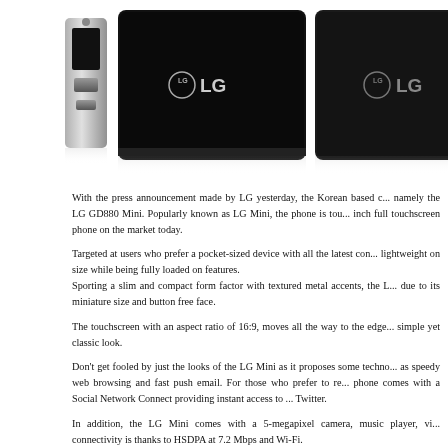[Figure (photo): Three views of the LG GD880 Mini smartphone: side profile (thin silver-edged), front face (black touchscreen with LG logo), and back (black with LG logo)]
With the press announcement made by LG yesterday, the Korean based c... namely the LG GD880 Mini. Popularly known as LG Mini, the phone is tou... inch full touchscreen phone on the market today.
Targeted at users who prefer a pocket-sized device with all the latest con... lightweight on size while being fully loaded on features.
Sporting a slim and compact form factor with textured metal accents, the L... due to its miniature size and button free face.
The touchscreen with an aspect ratio of 16:9, moves all the way to the edge... simple yet classic look.
Don't get fooled by just the looks of the LG Mini as it proposes some techno... as speedy web browsing and fast push email. For those who prefer to re... phone comes with a Social Network Connect providing instant access to ... Twitter.
In addition, the LG Mini comes with a 5-megapixel camera, music player, vi... connectivity is thanks to HSDPA at 7.2 Mbps and Wi-Fi.
The LG Mini will be available in Europe starting in March, followed by other m...